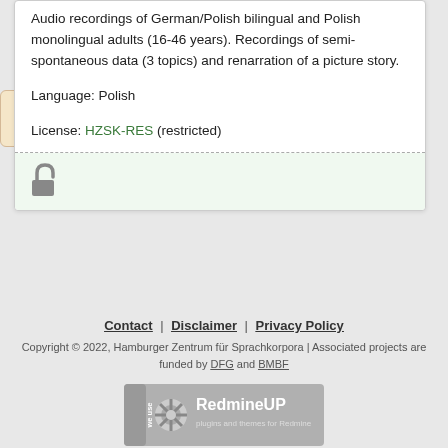Audio recordings of German/Polish bilingual and Polish monolingual adults (16-46 years). Recordings of semi-spontaneous data (3 topics) and renarration of a picture story.
Language: Polish
License: HZSK-RES (restricted)
[Figure (illustration): Open padlock icon in grey, shown in a light green background section]
[Figure (illustration): Question mark badge with tan/beige background and dark blue question mark]
Contact | Disclaimer | Privacy Policy
Copyright © 2022, Hamburger Zentrum für Sprachkorpora | Associated projects are funded by DFG and BMBF
[Figure (logo): RedmineUP plugins and themes for Redmine logo badge in grey]